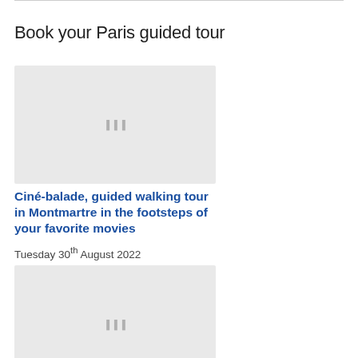Book your Paris guided tour
[Figure (photo): Placeholder image for Ciné-balade guided walking tour in Montmartre]
Ciné-balade, guided walking tour in Montmartre in the footsteps of your favorite movies
Tuesday 30th August 2022
[Figure (photo): Placeholder image for The Japanese culture in Paris tour]
The Japanese culture in